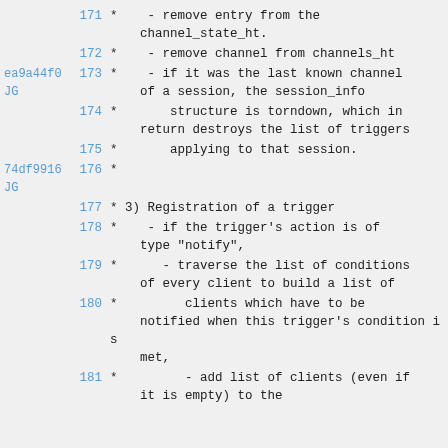171  *    - remove entry from the channel_state_ht.
172  *    - remove channel from channels_ht
ea9a44f0 JG  173  *    - if it was the last known channel of a session, the session_info
174  *       structure is torndown, which in return destroys the list of triggers
175  *       applying to that session.
74df9916 JG  176  *
177  * 3) Registration of a trigger
178  *    - if the trigger's action is of type "notify",
179  *      - traverse the list of conditions of every client to build a list of
180  *         clients which have to be notified when this trigger's condition is met,
181  *         - add list of clients (even if it is empty) to the